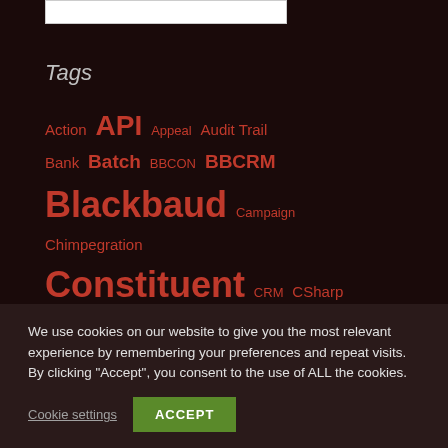Tags
Action API Appeal Audit Trail Bank Batch BBCON BBCRM Blackbaud Campaign Chimpegration Constituent CRM CSharp Event Export Fund Gift GUI
We use cookies on our website to give you the most relevant experience by remembering your preferences and repeat visits. By clicking "Accept", you consent to the use of ALL the cookies.
Cookie settings ACCEPT